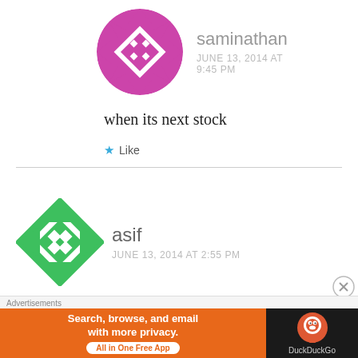[Figure (illustration): Purple geometric quilt-pattern avatar for user saminathan]
saminathan
JUNE 13, 2014 AT 9:45 PM
when its next stock
Like
[Figure (illustration): Green geometric quilt-pattern avatar for user asif]
asif
JUNE 13, 2014 AT 2:55 PM
when is it to be in stock
Advertisements
[Figure (screenshot): DuckDuckGo ad banner: Search, browse, and email with more privacy. All in One Free App]